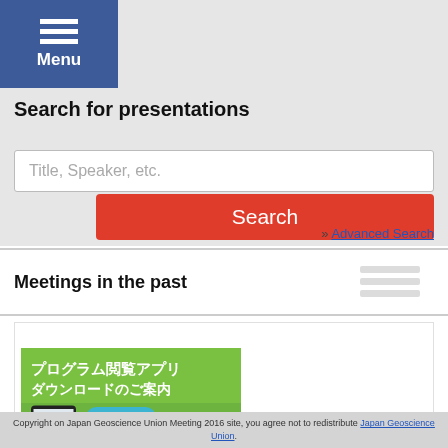Menu
Search for presentations
Title, Speaker, etc.
Search
» Advanced Search
Meetings in the past
[Figure (screenshot): Mobile app download banner in Japanese with iOS and Android buttons]
Copyright on Japan Geoscience Union Meeting 2016 site, you agree not to redistribute Japan Geoscience Union.